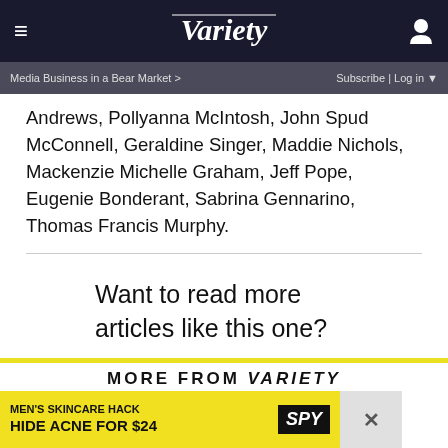VARIETY
Media Business in a Bear Market >     Subscribe | Log in
Andrews, Pollyanna McIntosh, John Spud McConnell, Geraldine Singer, Maddie Nichols, Mackenzie Michelle Graham, Jeff Pope, Eugenie Bonderant, Sabrina Gennarino, Thomas Francis Murphy.
Want to read more articles like this one?
SUBSCRIBE TODAY →
MORE FROM VARIETY